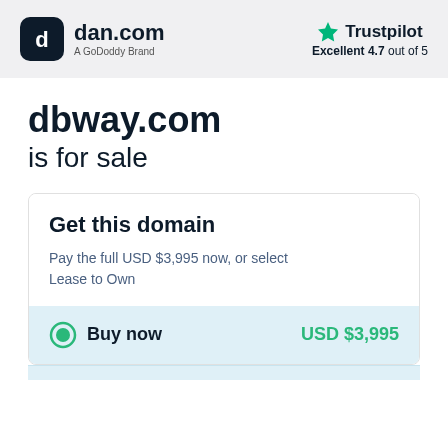dan.com — A GoDoddy Brand | Trustpilot Excellent 4.7 out of 5
dbway.com is for sale
Get this domain
Pay the full USD $3,995 now, or select Lease to Own
Buy now   USD $3,995